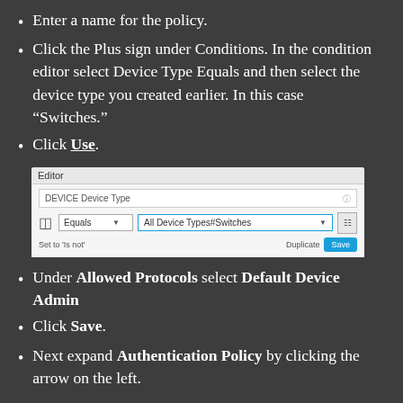Enter a name for the policy.
Click the Plus sign under Conditions. In the condition editor select Device Type Equals and then select the device type you created earlier. In this case “Switches.”
Click Use.
[Figure (screenshot): Editor dialog showing DEVICE Device Type condition with Equals dropdown and 'All Device Types#Switches' selected, with Duplicate and Save buttons]
Under Allowed Protocols select Default Device Admin
Click Save.
Next expand Authentication Policy by clicking the arrow on the left.